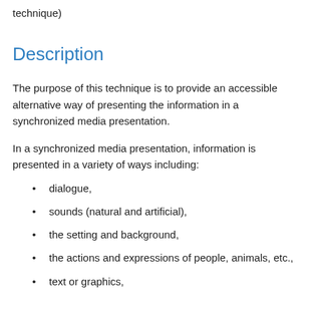technique)
Description
The purpose of this technique is to provide an accessible alternative way of presenting the information in a synchronized media presentation.
In a synchronized media presentation, information is presented in a variety of ways including:
dialogue,
sounds (natural and artificial),
the setting and background,
the actions and expressions of people, animals, etc.,
text or graphics,